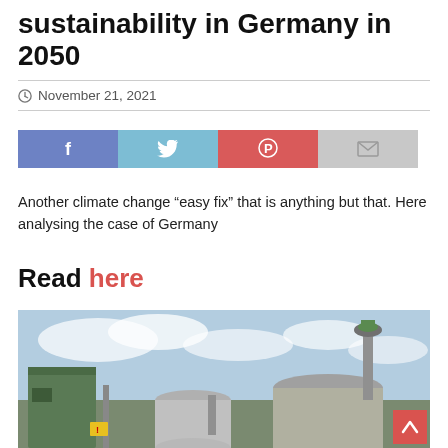sustainability in Germany in 2050
November 21, 2021
[Figure (other): Social media share buttons: Facebook (blue), Twitter (light blue), Pinterest (red), Email (grey)]
Another climate change “easy fix” that is anything but that. Here analysing the case of Germany
Read here
[Figure (photo): Industrial biogas facility with large metallic tanks, pipes, and green cylindrical structures against a cloudy sky.]